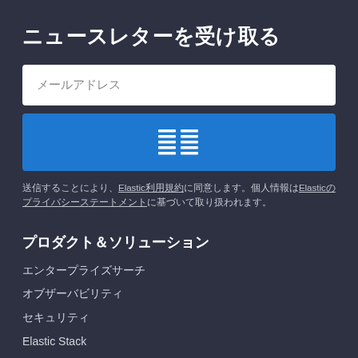ニュースレターを受け取る
メールアドレス
[Figure (other): Blue submit button with a grid/list icon made of two columns of white horizontal lines]
送信することにより、Elastic利用規約に同意します。個人情報はElasticのプライバシーステートメントに基づいて取り扱われます。
プロダクト＆ソリューション
エンタープライズサーチ
オブザーバビリティ
セキュリティ
Elastic Stack